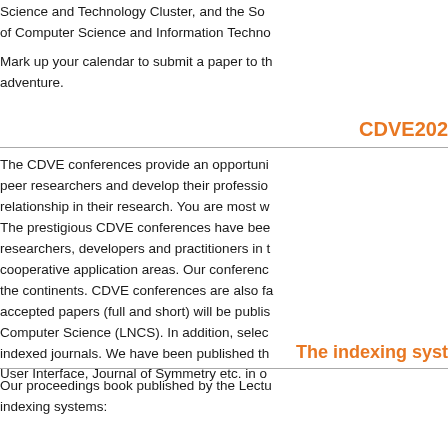Science and Technology Cluster, and the So of Computer Science and Information Techno
Mark up your calendar to submit a paper to th adventure.
CDVE202
The CDVE conferences provide an opportuni peer researchers and develop their professio relationship in their research. You are most w
The prestigious CDVE conferences have bee researchers, developers and practitioners in t cooperative application areas. Our conferenc the continents. CDVE conferences are also fa accepted papers (full and short) will be publis Computer Science (LNCS). In addition, selec indexed journals. We have been published th User Interface, Journal of Symmetry etc. in o
The indexing syst
Our proceedings book published by the Lectu indexing systems: